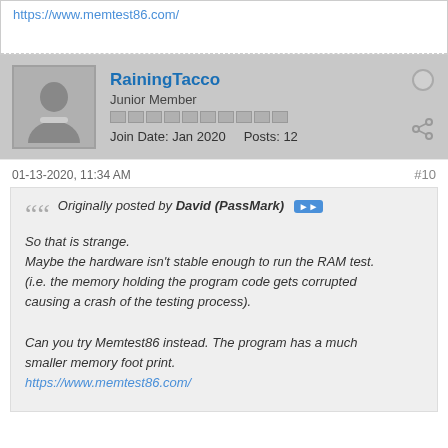https://www.memtest86.com/
RainingTacco
Junior Member
Join Date: Jan 2020  Posts: 12
01-13-2020, 11:34 AM
#10
Originally posted by David (PassMark)
So that is strange.
Maybe the hardware isn't stable enough to run the RAM test. (i.e. the memory holding the program code gets corrupted causing a crash of the testing process).

Can you try Memtest86 instead. The program has a much smaller memory foot print.
https://www.memtest86.com/